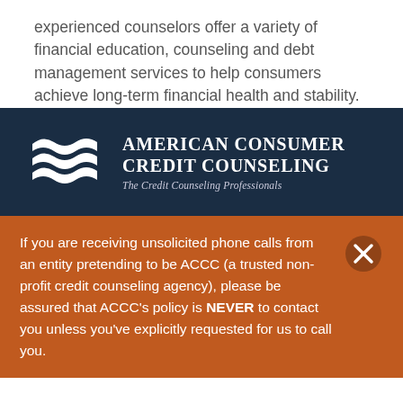experienced counselors offer a variety of financial education, counseling and debt management services to help consumers achieve long-term financial health and stability.
[Figure (logo): American Consumer Credit Counseling logo with white wave graphic on dark navy background and italic tagline 'The Credit Counseling Professionals']
If you are receiving unsolicited phone calls from an entity pretending to be ACCC (a trusted non-profit credit counseling agency), please be assured that ACCC's policy is NEVER to contact you unless you've explicitly requested for us to call you.